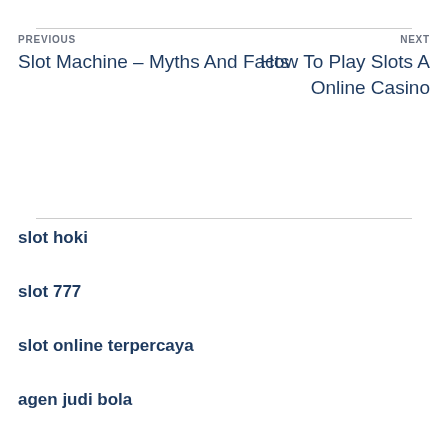PREVIOUS
Slot Machine – Myths And Facts
NEXT
How To Play Slots A Online Casino
slot hoki
slot 777
slot online terpercaya
agen judi bola